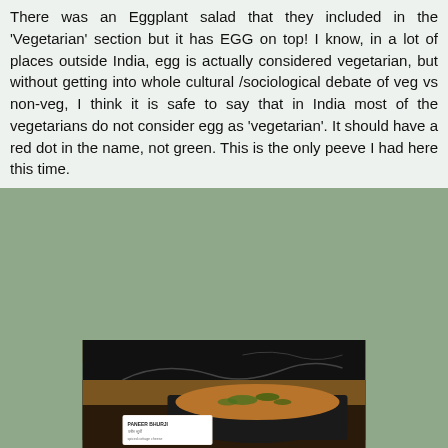There was an Eggplant salad that they included in the 'Vegetarian' section but it has EGG on top! I know, in a lot of places outside India, egg is actually considered vegetarian, but without getting into whole cultural /sociological debate of veg vs non-veg, I think it is safe to say that in India most of the vegetarians do not consider egg as 'vegetarian'. It should have a red dot in the name, not green. This is the only peeve I had here this time.
[Figure (photo): A red cooking pot with salmon dish on a dark buffet station. A sign says SALMON. A small label card and serving spoon are visible next to the pot.]
[Figure (photo): A dark pan with Paneer Bhurji (spiced cottage cheese) dish. A label card reading PANEER BHURJI with Hindi text and description is visible.]